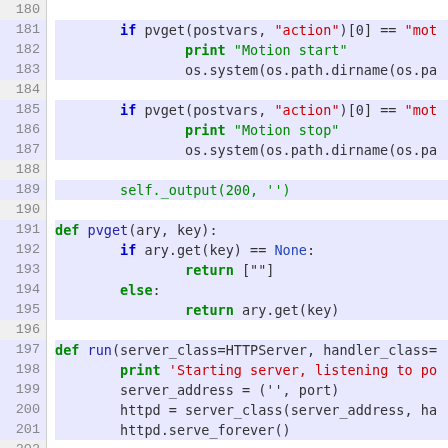[Figure (screenshot): Python source code viewer showing lines 180-201 with line numbers on the left in a gray gutter. Code includes if-statements, print statements, function definitions for pvget and run, with syntax highlighting.]